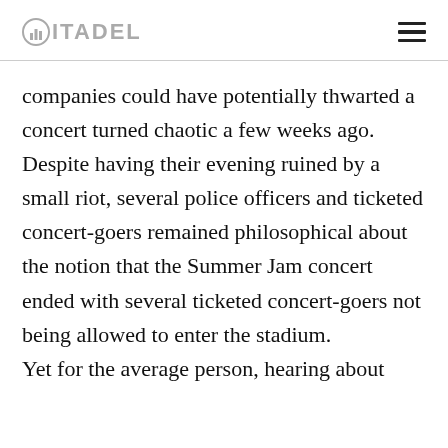CITADEL
companies could have potentially thwarted a concert turned chaotic a few weeks ago. Despite having their evening ruined by a small riot, several police officers and ticketed concert-goers remained philosophical about the notion that the Summer Jam concert ended with several ticketed concert-goers not being allowed to enter the stadium.
Yet for the average person, hearing about